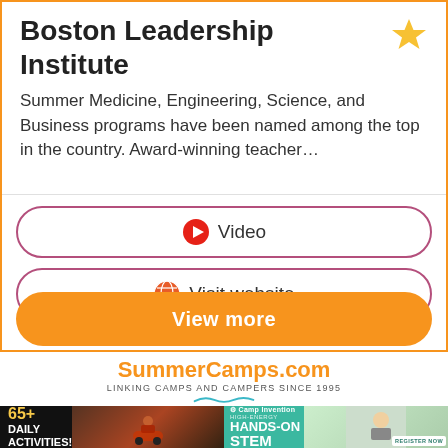Boston Leadership Institute
Summer Medicine, Engineering, Science, and Business programs have been named among the top in the country. Award-winning teacher...
Video
Visit website
View more
[Figure (logo): SummerCamps.com logo with tagline 'LINKING CAMPS AND CAMPERS SINCE 1995' and blue wave graphic]
[Figure (photo): Two advertisement banners side by side: left shows '65+ DAILY ACTIVITIES!' on black background with photo of child on ATV; right shows Camp Invention 'HIGH-ENERGY HANDS-ON STEM' on teal background with child photo and 'REGISTER NOW' button]